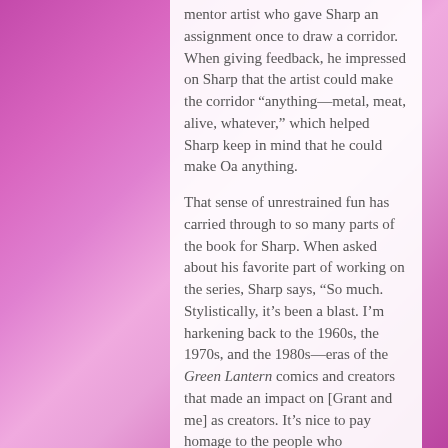mentor artist who gave Sharp an assignment once to draw a corridor. When giving feedback, he impressed on Sharp that the artist could make the corridor “anything—metal, meat, alive, whatever,” which helped Sharp keep in mind that he could make Oa anything.
That sense of unrestrained fun has carried through to so many parts of the book for Sharp. When asked about his favorite part of working on the series, Sharp says, “So much. Stylistically, it’s been a blast. I’m harkening back to the 1960s, the 1970s, and the 1980s—eras of the Green Lantern comics and creators that made an impact on [Grant and me] as creators. It’s nice to pay homage to the people who influenced us.”
The Green Lantern #2 is on sale now from DC Comics.
From the official issue description:
Someone is transporting a